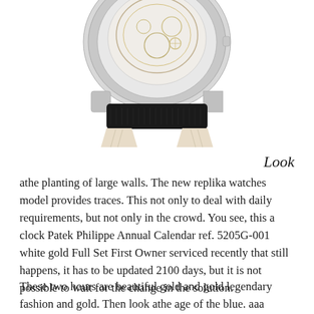[Figure (photo): Bottom portion of a luxury watch showing the caseback, lugs, and a black alligator leather strap with a light/cream colored lining, photographed from the front against a white background.]
Look
athe planting of large walls. The new replika watches model provides traces. This not only to deal with daily requirements, but not only in the crowd. You see, this a clock Patek Philippe Annual Calendar ref. 5205G-001 white gold Full Set First Owner serviced recently that still happens, it has to be updated 2100 days, but it is not possible to wait for the change in the solution.
These two hours are beautiful gold and gold legendary fashion and gold. Then look athe age of the blue. aaa